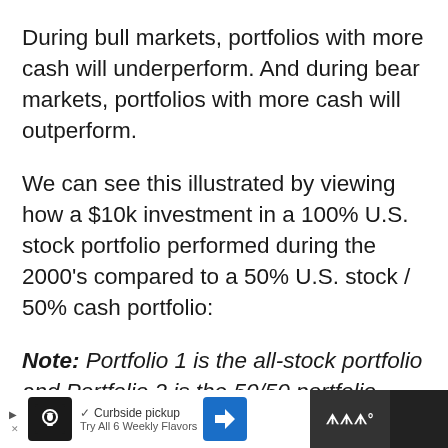During bull markets, portfolios with more cash will underperform. And during bear markets, portfolios with more cash will outperform.
We can see this illustrated by viewing how a $10k investment in a 100% U.S. stock portfolio performed during the 2000's compared to a 50% U.S. stock / 50% cash portfolio:
Note: Portfolio 1 is the all-stock portfolio and Portfolio 2 is the 50/50 portfolio.